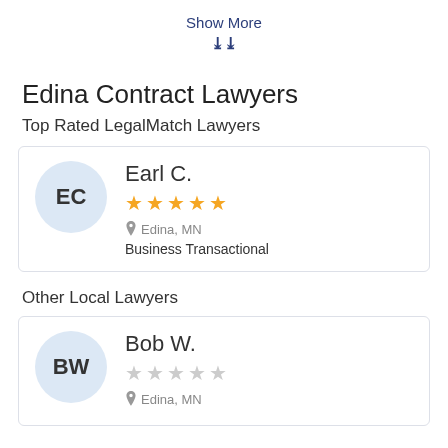Show More
Edina Contract Lawyers
Top Rated LegalMatch Lawyers
EC - Earl C. - 5 stars - Edina, MN - Business Transactional
Other Local Lawyers
BW - Bob W. - 0 stars - Edina, MN